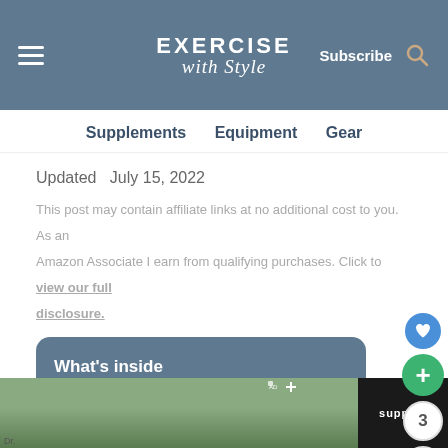Exercise with Style — Subscribe
Supplements   Equipment   Gear
Updated   July 15, 2022
This post may contain affiliate links at no additional cost to you. As an Amazon Associate I earn from qualifying purchases. Click to view our full disclosure.
What's inside
This is our Dr Berg Electrolyte Powder review!